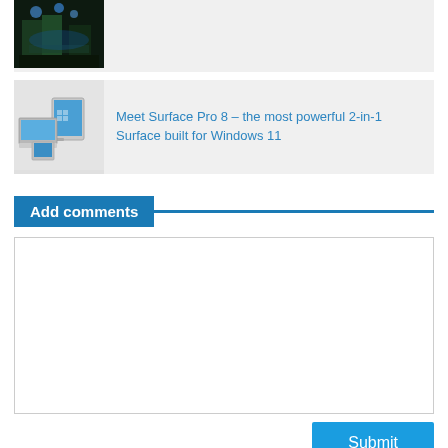[Figure (photo): Night scene photo – outdoor stage with blue lighting and trees]
[Figure (photo): Surface Pro 8 devices shown from multiple angles on light grey background]
Meet Surface Pro 8 – the most powerful 2-in-1 Surface built for Windows 11
Add comments
[Figure (other): Comment text area input box]
Submit